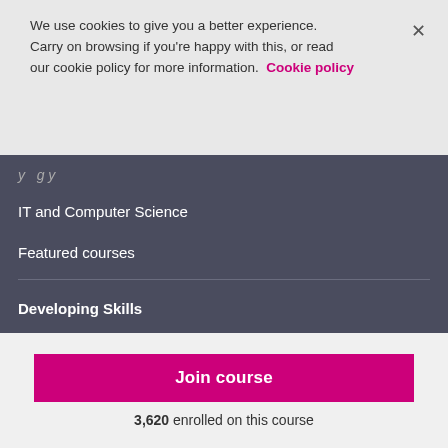We use cookies to give you a better experience. Carry on browsing if you're happy with this, or read our cookie policy for more information. Cookie policy
IT and Computer Science
Featured courses
Developing Skills
FutureLearn for Business
FutureLearn Schools
Join course
3,620 enrolled on this course